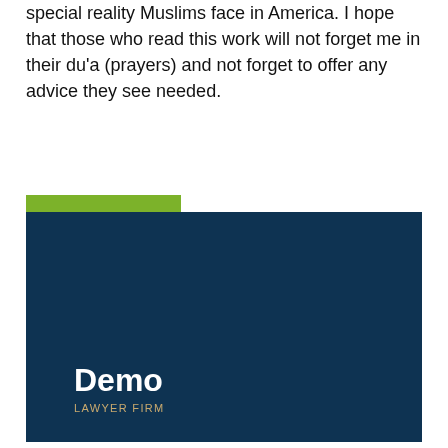special reality Muslims face in America. I hope that those who read this work will not forget me in their du'a (prayers) and not forget to offer any advice they see needed.
READ MORE ...
[Figure (logo): Dark navy blue banner with 'Demo' in large white bold text and 'LAWYER FIRM' in small golden/tan uppercase letters below it.]